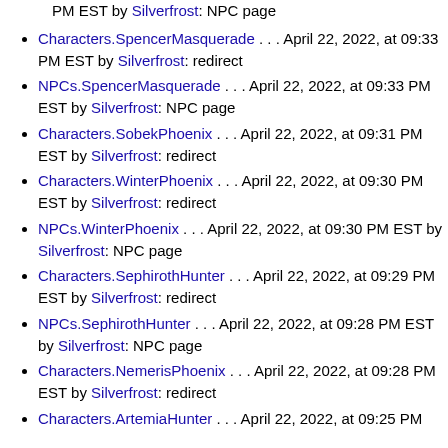PM EST by Silverfrost: NPC page
Characters.SpencerMasquerade . . . April 22, 2022, at 09:33 PM EST by Silverfrost: redirect
NPCs.SpencerMasquerade . . . April 22, 2022, at 09:33 PM EST by Silverfrost: NPC page
Characters.SobekPhoenix . . . April 22, 2022, at 09:31 PM EST by Silverfrost: redirect
Characters.WinterPhoenix . . . April 22, 2022, at 09:30 PM EST by Silverfrost: redirect
NPCs.WinterPhoenix . . . April 22, 2022, at 09:30 PM EST by Silverfrost: NPC page
Characters.SephirothHunter . . . April 22, 2022, at 09:29 PM EST by Silverfrost: redirect
NPCs.SephirothHunter . . . April 22, 2022, at 09:28 PM EST by Silverfrost: NPC page
Characters.NemerisPhoenix . . . April 22, 2022, at 09:28 PM EST by Silverfrost: redirect
Characters.ArtemiaHunter . . . April 22, 2022, at 09:25 PM